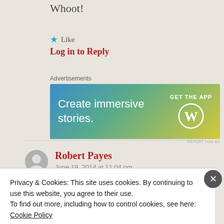Whoot!
★ Like
Log in to Reply
[Figure (other): WordPress advertisement banner: 'Create immersive stories. GET THE APP' with WordPress logo]
Robert Payes
June 19, 2014 at 11:04 pm
Privacy & Cookies: This site uses cookies. By continuing to use this website, you agree to their use.
To find out more, including how to control cookies, see here:
Cookie Policy
Close and accept